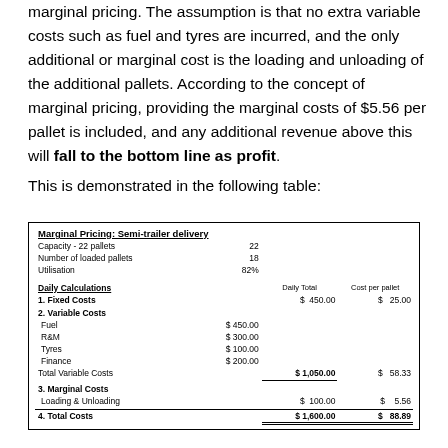marginal pricing. The assumption is that no extra variable costs such as fuel and tyres are incurred, and the only additional or marginal cost is the loading and unloading of the additional pallets. According to the concept of marginal pricing, providing the marginal costs of $5.56 per pallet is included, and any additional revenue above this will fall to the bottom line as profit.
This is demonstrated in the following table:
|  |  | Daily Total | Cost per pallet |
| --- | --- | --- | --- |
| Marginal Pricing: Semi-trailer delivery |  |  |  |
| Capacity - 22 pallets | 22 |  |  |
| Number of loaded pallets | 18 |  |  |
| Utilisation | 82% |  |  |
| Daily Calculations |  | Daily Total | Cost per pallet |
| 1. Fixed Costs |  | $ 450.00 | $ 25.00 |
| 2. Variable Costs |  |  |  |
| Fuel | $ 450.00 |  |  |
| R&M | $ 300.00 |  |  |
| Tyres | $ 100.00 |  |  |
| Finance | $ 200.00 |  |  |
| Total Variable Costs |  | $ 1,050.00 | $ 58.33 |
| 3. Marginal Costs |  |  |  |
| Loading & Unloading |  | $ 100.00 | $ 5.56 |
| 4. Total Costs |  | $ 1,600.00 | $ 88.89 |